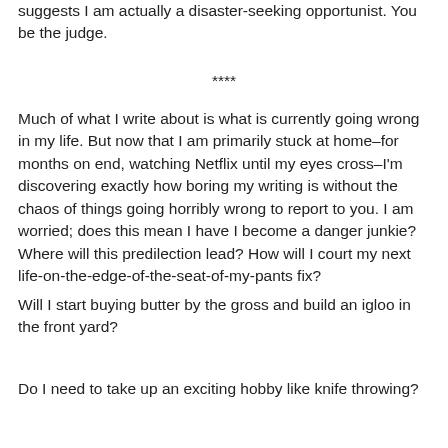suggests I am actually a disaster-seeking opportunist. You be the judge.
****
Much of what I write about is what is currently going wrong in my life. But now that I am primarily stuck at home–for months on end, watching Netflix until my eyes cross–I'm discovering exactly how boring my writing is without the chaos of things going horribly wrong to report to you. I am worried; does this mean I have I become a danger junkie? Where will this predilection lead? How will I court my next life-on-the-edge-of-the-seat-of-my-pants fix?
Will I start buying butter by the gross and build an igloo in the front yard?
Do I need to take up an exciting hobby like knife throwing?